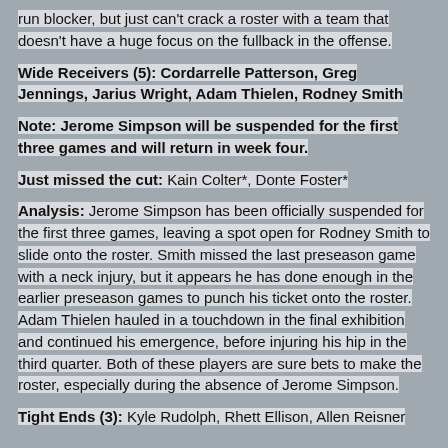run blocker, but just can't crack a roster with a team that doesn't have a huge focus on the fullback in the offense.
Wide Receivers (5): Cordarrelle Patterson, Greg Jennings, Jarius Wright, Adam Thielen, Rodney Smith
Note: Jerome Simpson will be suspended for the first three games and will return in week four.
Just missed the cut: Kain Colter*, Donte Foster*
Analysis: Jerome Simpson has been officially suspended for the first three games, leaving a spot open for Rodney Smith to slide onto the roster. Smith missed the last preseason game with a neck injury, but it appears he has done enough in the earlier preseason games to punch his ticket onto the roster. Adam Thielen hauled in a touchdown in the final exhibition and continued his emergence, before injuring his hip in the third quarter. Both of these players are sure bets to make the roster, especially during the absence of Jerome Simpson.
Tight Ends (3): Kyle Rudolph, Rhett Ellison, Allen Reisner